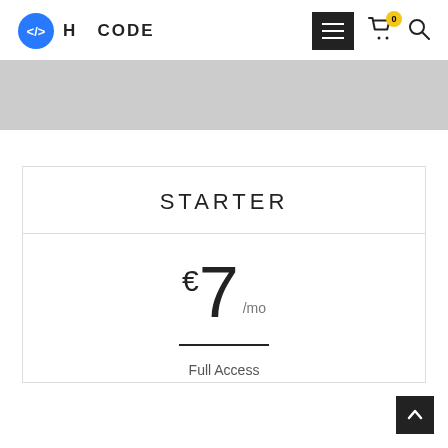[Figure (logo): H-CODE logo with blue circle containing </> icon and text 'H CODE']
[Figure (infographic): Navigation header with hamburger menu button, shopping cart with 0 badge, and search icon]
[Figure (infographic): Gray banner/hero area]
STARTER
€7 /mo
Full Access